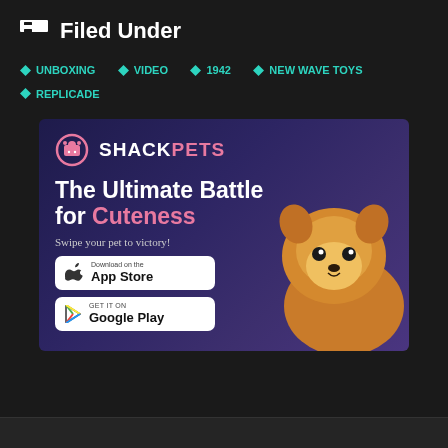Filed Under
UNBOXING
VIDEO
1942
NEW WAVE TOYS
REPLICADE
[Figure (illustration): ShackPets advertisement banner showing a Pomeranian dog, with text 'The Ultimate Battle for Cuteness', 'Swipe your pet to victory!', and download buttons for App Store and Google Play]